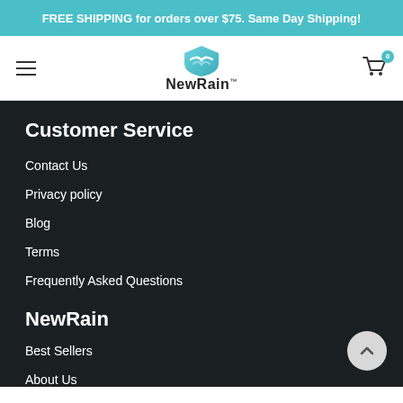FREE SHIPPING for orders over $75. Same Day Shipping!
[Figure (logo): NewRain logo with teal shield icon and hamburger menu on left, cart icon with badge 0 on right]
Customer Service
Contact Us
Privacy policy
Blog
Terms
Frequently Asked Questions
NewRain
Best Sellers
About Us